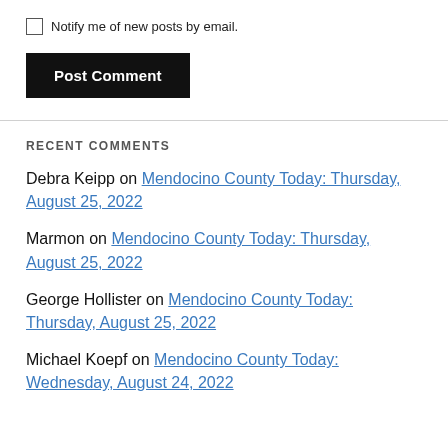Notify me of new posts by email.
Post Comment
RECENT COMMENTS
Debra Keipp on Mendocino County Today: Thursday, August 25, 2022
Marmon on Mendocino County Today: Thursday, August 25, 2022
George Hollister on Mendocino County Today: Thursday, August 25, 2022
Michael Koepf on Mendocino County Today: Wednesday, August 24, 2022